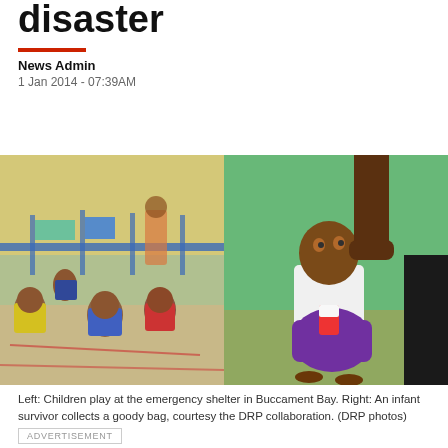disaster
News Admin
1 Jan 2014 - 07:39AM
[Figure (photo): Two side-by-side photos. Left: Children play at an emergency shelter in Buccament Bay, showing kids in a courtyard with laundry lines and blue railings. Right: An infant survivor receives a goody bag from an adult's hand, holding a purple bag with a red and white item, in front of a green wall.]
Left: Children play at the emergency shelter in Buccament Bay. Right: An infant survivor collects a goody bag, courtesy the DRP collaboration. (DRP photos)
ADVERTISEMENT